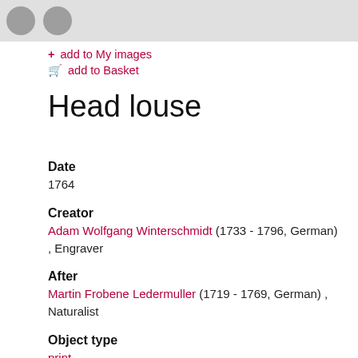[Figure (other): Top navigation bar with two grey circular buttons]
+ add to My images
add to Basket
Head louse
Date
1764
Creator
Adam Wolfgang Winterschmidt (1733 - 1796, German) , Engraver
After
Martin Frobene Ledermuller (1719 - 1769, German) , Naturalist
Object type
print
digital